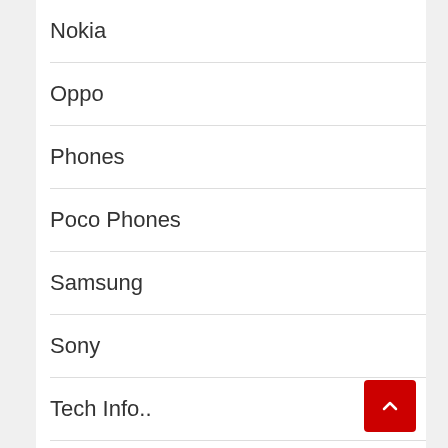Nokia
Oppo
Phones
Poco Phones
Samsung
Sony
Tech Info..
Technology
Tecno